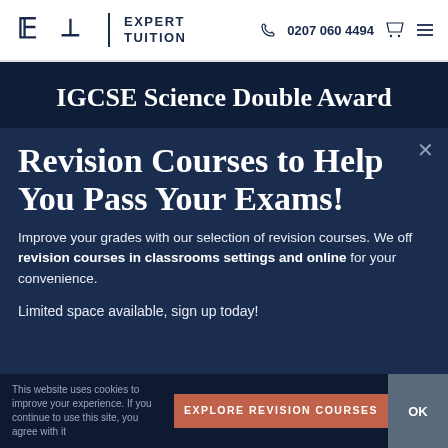Expert Tuition | 0207 060 4494
IGCSE Science Double Award
Download IGCSE Science Double Award Past Papers & Mark Schemes
Revision Courses to Help You Pass Your Exams!
Improve your grades with our selection of revision courses. We off revision courses in classrooms settings and online for your convenience.
Limited space available, sign up today!
EXPLORE REVISION COURSES
This website uses cookies to improve your experience. If you continue to use this site, you agree with it
OK